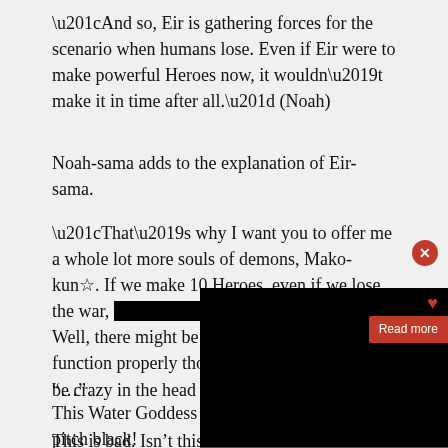“And so, Eir is gathering forces for the scenario when humans lose. Even if Eir were to make powerful Heroes now, it wouldn’t make it in time after all.” (Noah)
Noah-sama adds to the explanation of Eir-sama.
“That’s why I want you to offer me a whole lot more souls of demons, Mako-kun☆. If we make 10 Heroes, even if we lose the war, we can get them back later. Well, there might be less Heroes that function properly though. You would need to be crazy in the head and
[Figure (screenshot): Black overlay panel with close button (red circle with X), heart icon, and red Read more button]
“…”
This Water Goddess is pitch black!
This is bad. Isn’t this one more of an Evil God?